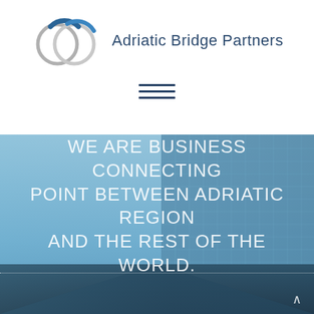[Figure (logo): Adriatic Bridge Partners logo: two overlapping circle outlines (one blue-grey, one silver/grey) with blue accent arcs, followed by the company name text]
[Figure (other): Hamburger menu icon: three horizontal dark blue lines]
[Figure (photo): Hero background photo: modern glass office building exterior with blue sky, wide angle low shot]
WE ARE BUSINESS CONNECTING POINT BETWEEN ADRIATIC REGION AND THE REST OF THE WORLD.